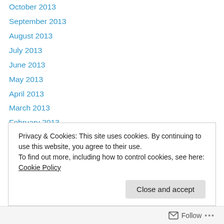October 2013
September 2013
August 2013
July 2013
June 2013
May 2013
April 2013
March 2013
February 2013
January 2013
December 2012
November 2012
October 2012
Privacy & Cookies: This site uses cookies. By continuing to use this website, you agree to their use.
To find out more, including how to control cookies, see here: Cookie Policy
Close and accept
Follow ...